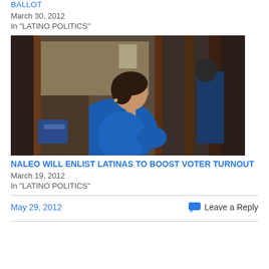BALLOT
March 30, 2012
In "LATINO POLITICS"
[Figure (photo): A woman in a blue sweater looking upward, standing near a doorway in an indoor setting]
NALEO WILL ENLIST LATINAS TO BOOST VOTER TURNOUT
March 19, 2012
In "LATINO POLITICS"
May 29, 2012
Leave a Reply